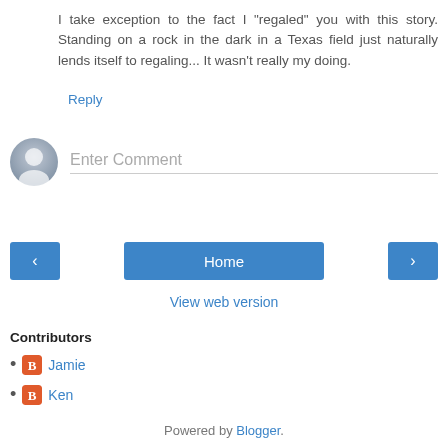I take exception to the fact I "regaled" you with this story. Standing on a rock in the dark in a Texas field just naturally lends itself to regaling... It wasn't really my doing.
Reply
[Figure (other): User avatar placeholder icon (gray circle silhouette) with an 'Enter Comment' input field]
[Figure (other): Navigation bar with left arrow button, Home button, and right arrow button]
View web version
Contributors
Jamie
Ken
Powered by Blogger.